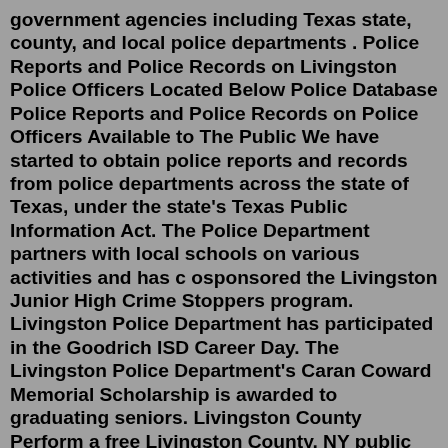government agencies including Texas state, county, and local police departments . Police Reports and Police Records on Livingston Police Officers Located Below Police Database Police Reports and Police Records on Police Officers Available to The Public We have started to obtain police reports and records from police departments across the state of Texas, under the state's Texas Public Information Act. The Police Department partners with local schools on various activities and has c osponsored the Livingston Junior High Crime Stoppers program. Livingston Police Department has participated in the Goodrich ISD Career Day. The Livingston Police Department's Caran Coward Memorial Scholarship is awarded to graduating seniors. Livingston County Perform a free Livingston County, NY public police records search, including police reports, logs, notes, blotters, bookings, and mugshots. The Livingston County Police Records Search (New York) links below open in a new window and take you to third party websites that provide access to Livingston County public li...